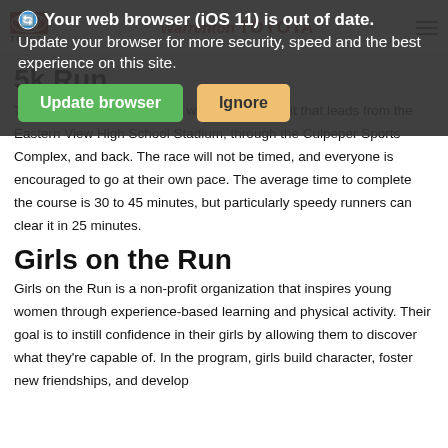Warrenton Toyota
[Figure (screenshot): Browser update notification overlay: 'Your web browser (iOS 11) is out of date. Update your browser for more security, speed and the best experience on this site.' with 'Update browser' (green button) and 'Ignore' (yellow button).]
5k Run
The Girls on the Run course will create a circuit that leads from the Eastern View High School Stadium, through the Culpeper Sports Complex, and back. The race will not be timed, and everyone is encouraged to go at their own pace. The average time to complete the course is 30 to 45 minutes, but particularly speedy runners can clear it in 25 minutes.
Girls on the Run
Girls on the Run is a non-profit organization that inspires young women through experience-based learning and physical activity. Their goal is to instill confidence in their girls by allowing them to discover what they're capable of. In the program, girls build character, foster new friendships, and develop